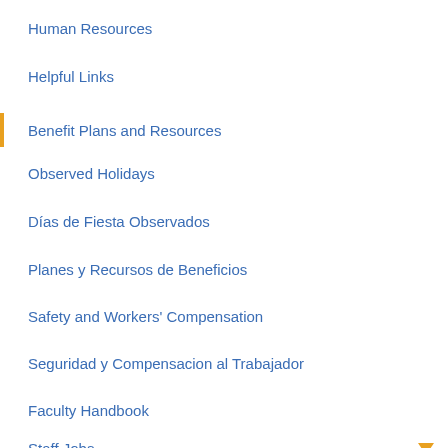Human Resources
Helpful Links
Benefit Plans and Resources
Observed Holidays
Días de Fiesta Observados
Planes y Recursos de Beneficios
Safety and Workers' Compensation
Seguridad y Compensacion al Trabajador
Faculty Handbook
Staff Jobs